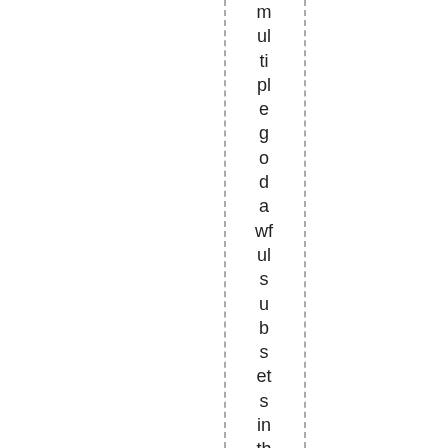multiple godawful subsets in their series 2 packs. T